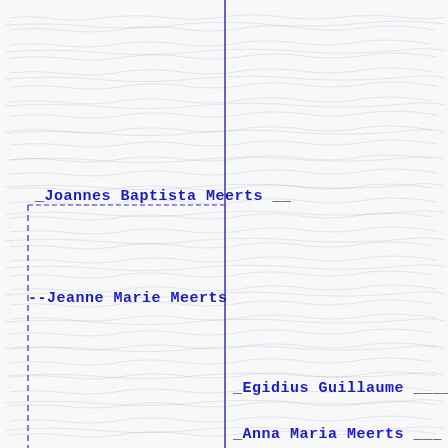Joannes Baptista Meerts
Anna Maria Meerts
--Jeanne Marie Meerts
Egidius Guillaume